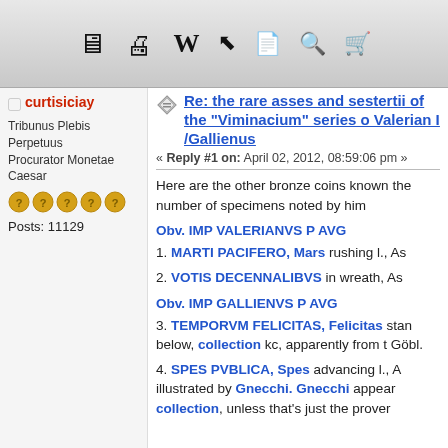[Figure (screenshot): Forum toolbar with icons: home/tray, users/community, Wikipedia W, hammer/tools, document, search magnifier, shopping cart]
curtisiciay | Tribunus Plebis Perpetuus | Procurator Monetae | Caesar | Posts: 11129
Re: the rare asses and sestertii of the "Viminacium" series of Valerian I /Gallienus
« Reply #1 on: April 02, 2012, 08:59:06 pm »
Here are the other bronze coins known the number of specimens noted by him
Obv. IMP VALERIANVS P AVG
1. MARTI PACIFERO, Mars rushing l., As
2. VOTIS DECENNALIBVS in wreath, As
Obv. IMP GALLIENVS P AVG
3. TEMPORVM FELICITAS, Felicitas stan below, collection kc, apparently from t Göbl.
4. SPES PVBLICA, Spes advancing l., A illustrated by Gnecchi. Gnecchi appear collection, unless that's just the prover